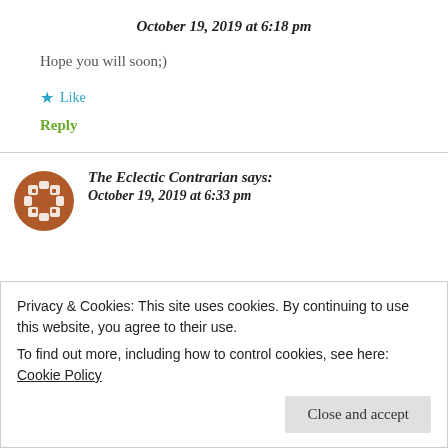October 19, 2019 at 6:18 pm
Hope you will soon;)
★ Like
Reply
The Eclectic Contrarian says: October 19, 2019 at 6:33 pm
Privacy & Cookies: This site uses cookies. By continuing to use this website, you agree to their use. To find out more, including how to control cookies, see here: Cookie Policy
Close and accept